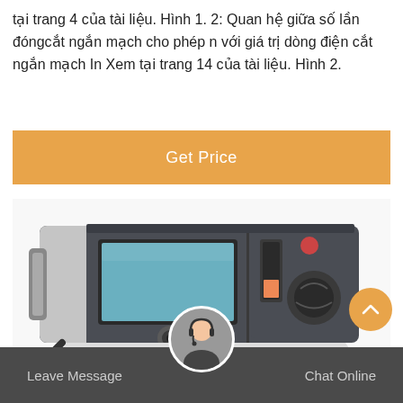tại trang 4 của tài liệu. Hình 1. 2: Quan hệ giữa số lần đóngcắt ngắn mạch cho phép n với giá trị dòng điện cắt ngắn mạch In Xem tại trang 14 của tài liệu. Hình 2.
Get Price
[Figure (photo): A portable electronic testing device/circuit breaker analyzer with dark gray housing, LCD screen, control knobs, connectors, and a carrying handle, shown on white background.]
Leave Message   Chat Online